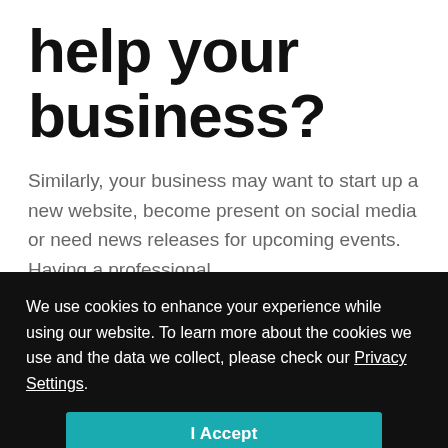help your business?
Similarly, your business may want to start up a new website, become present on social media or need news releases for upcoming events. Having a professional
We use cookies to enhance your experience while using our website. To learn more about the cookies we use and the data we collect, please check our Privacy Settings.
I Accept